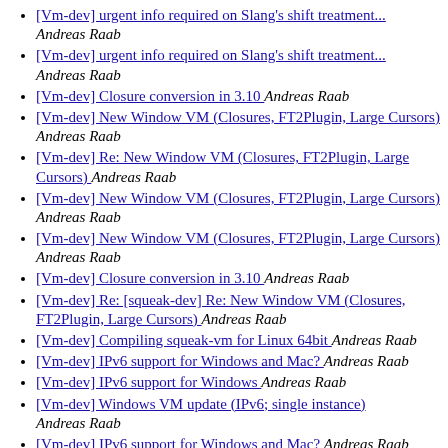[Vm-dev] urgent info required on Slang's shift treatment... Andreas Raab
[Vm-dev] urgent info required on Slang's shift treatment... Andreas Raab
[Vm-dev] Closure conversion in 3.10  Andreas Raab
[Vm-dev] New Window VM (Closures, FT2Plugin, Large Cursors)  Andreas Raab
[Vm-dev] Re: New Window VM (Closures, FT2Plugin, Large Cursors)  Andreas Raab
[Vm-dev] New Window VM (Closures, FT2Plugin, Large Cursors)  Andreas Raab
[Vm-dev] New Window VM (Closures, FT2Plugin, Large Cursors)  Andreas Raab
[Vm-dev] Closure conversion in 3.10  Andreas Raab
[Vm-dev] Re: [squeak-dev] Re: New Window VM (Closures, FT2Plugin, Large Cursors)  Andreas Raab
[Vm-dev] Compiling squeak-vm for Linux 64bit  Andreas Raab
[Vm-dev] IPv6 support for Windows and Mac?  Andreas Raab
[Vm-dev] IPv6 support for Windows  Andreas Raab
[Vm-dev] Windows VM update (IPv6; single instance)  Andreas Raab
[Vm-dev] IPv6 support for Windows and Mac?  Andreas Raab